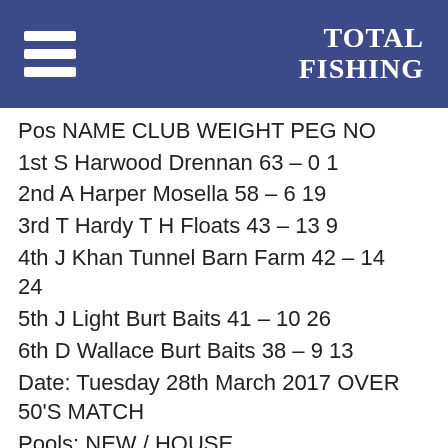TOTAL FISHING
| Pos | NAME | CLUB | WEIGHT | PEG NO |
| --- | --- | --- | --- | --- |
| 1st | S Harwood | Drennan | 63 – 0 | 1 |
| 2nd | A Harper | Mosella | 58 – 6 | 19 |
| 3rd | T Hardy | T H Floats | 43 – 13 | 9 |
| 4th | J Khan | Tunnel Barn Farm | 42 – 14 | 24 |
| 5th | J Light | Burt Baits | 41 – 10 | 26 |
| 6th | D Wallace | Burt Baits | 38 – 9 | 13 |
Date: Tuesday 28th March 2017 OVER 50'S MATCH
Pools: NEW / HOUSE
No F/Man: 45
Pos NAME TEAM WEIGHT PEG NO